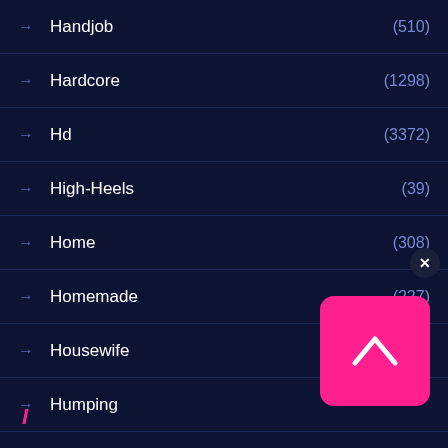Handjob (510)
Hardcore (1298)
Hd (3372)
High-Heels (39)
Home (308)
Homemade (227)
Housewife (139)
Humping
Hunk
Husband (297)
I